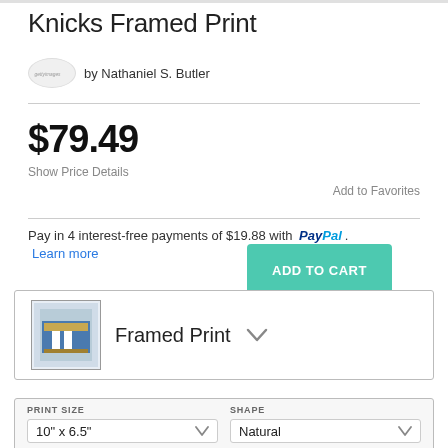Knicks Framed Print
by Nathaniel S. Butler
$79.49
Show Price Details
ADD TO CART
Add to Favorites
Pay in 4 interest-free payments of $19.88 with PayPal. Learn more
Framed Print
PRINT SIZE
SHAPE
10" x 6.5"
Natural